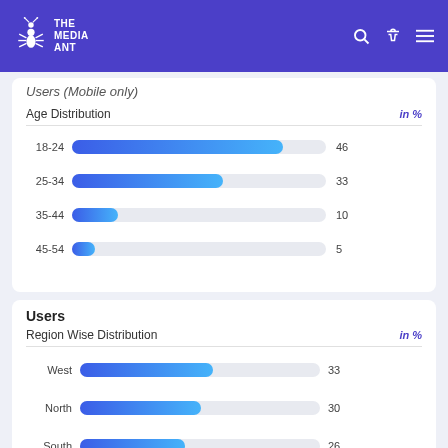The Media Ant
Users (Mobile only)
[Figure (bar-chart): Age Distribution]
Users
[Figure (bar-chart): Region Wise Distribution]